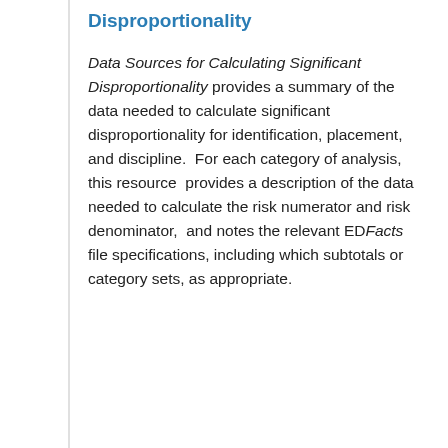Disproportionality
Data Sources for Calculating Significant Disproportionality provides a summary of the data needed to calculate significant disproportionality for identification, placement, and discipline.  For each category of analysis, this resource  provides a description of the data needed to calculate the risk numerator and risk denominator,  and notes the relevant EDFacts file specifications, including which subtotals or category sets, as appropriate.